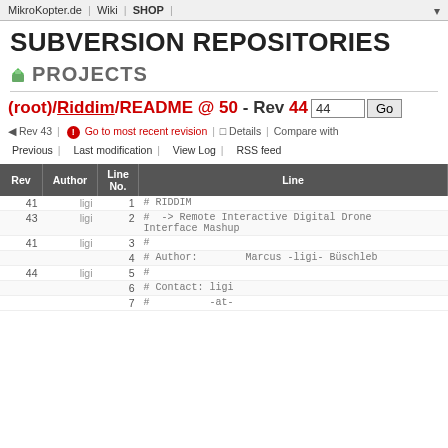MikroKopter.de | Wiki | SHOP |
SUBVERSION REPOSITORIES
PROJECTS
(root)/Riddim/README @ 50 - Rev 44   [input: 44]  Go
Rev 43 | Go to most recent revision | Details | Compare with Previous | Last modification | View Log | RSS feed
| Rev | Author | Line No. | Line |
| --- | --- | --- | --- |
| 41 | ligi | 1 | # RIDDIM |
| 43 | ligi | 2 | #  -> Remote Interactive Digital Drone Interface Mashup |
| 41 | ligi | 3 | # |
|  |  | 4 | # Author:        Marcus -ligi- Büschleb |
| 44 | ligi | 5 | # |
|  |  | 6 | # Contact: ligi |
|  |  | 7 | #          -at- |